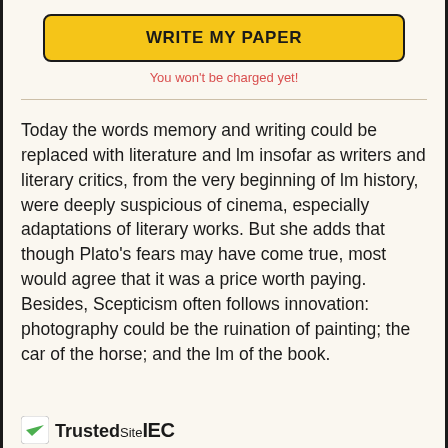[Figure (other): Yellow button with black border and bold text: WRITE MY PAPER]
You won't be charged yet!
Today the words memory and writing could be replaced with literature and lm insofar as writers and literary critics, from the very beginning of lm history, were deeply suspicious of cinema, especially adaptations of literary works. But she adds that though Plato’s fears may have come true, most would agree that it was a price worth paying. Besides, Scepticism often follows innovation: photography could be the ruination of painting; the car of the horse; and the lm of the book.
[Figure (logo): TrustedSite logo with green checkmark and partial text visible at bottom]